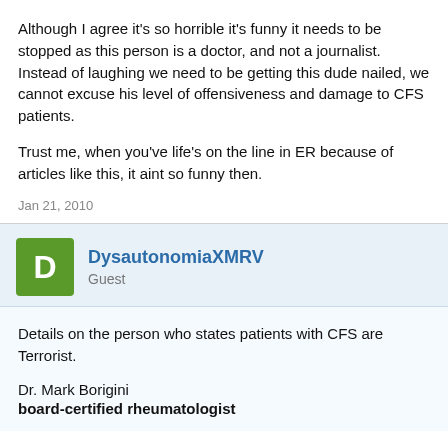Although I agree it's so horrible it's funny it needs to be stopped as this person is a doctor, and not a journalist. Instead of laughing we need to be getting this dude nailed, we cannot excuse his level of offensiveness and damage to CFS patients.
Trust me, when you've life's on the line in ER because of articles like this, it aint so funny then.
Jan 21, 2010
DysautonomiaXMRV
Guest
Details on the person who states patients with CFS are Terrorist.
Dr. Mark Borigini
board-certified rheumatologist